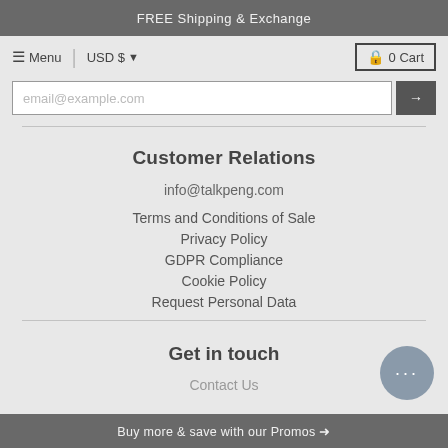FREE Shipping & Exchange
Menu | USD $ | 0 Cart
email@example.com
Customer Relations
info@talkpeng.com
Terms and Conditions of Sale
Privacy Policy
GDPR Compliance
Cookie Policy
Request Personal Data
Get in touch
Contact Us
Buy more & save with our Promos →